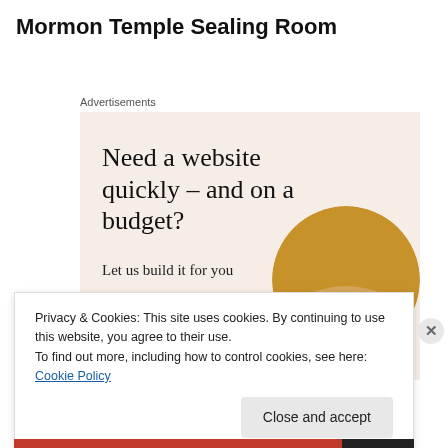Mormon Temple Sealing Room
Advertisements
[Figure (infographic): Advertisement banner with beige background. Headline: 'Need a website quickly – and on a budget?' Subtext: 'Let us build it for you'. Button: 'Let's get started'. Circular photo of person working on laptop.]
Privacy & Cookies: This site uses cookies. By continuing to use this website, you agree to their use.
To find out more, including how to control cookies, see here: Cookie Policy
Close and accept